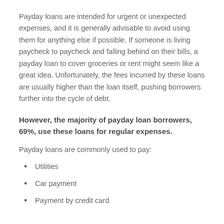Payday loans are intended for urgent or unexpected expenses, and it is generally advisable to avoid using them for anything else if possible. If someone is living paycheck to paycheck and falling behind on their bills, a payday loan to cover groceries or rent might seem like a great idea. Unfortunately, the fees incurred by these loans are usually higher than the loan itself, pushing borrowers further into the cycle of debt.
However, the majority of payday loan borrowers, 69%, use these loans for regular expenses.
Payday loans are commonly used to pay:
Utilities
Car payment
Payment by credit card